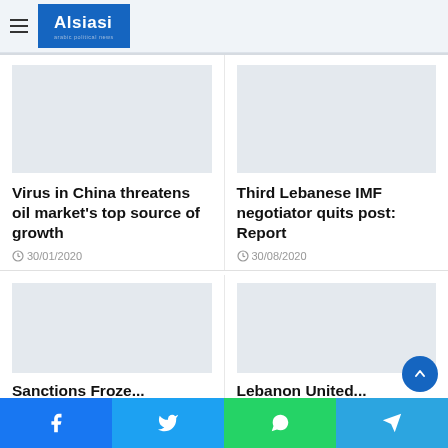Alsiasi
Virus in China threatens oil market's top source of growth
30/01/2020
Third Lebanese IMF negotiator quits post: Report
30/08/2020